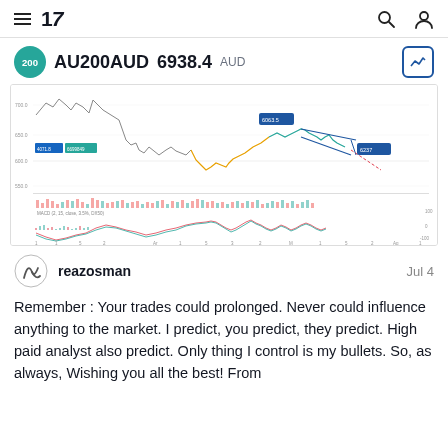TradingView navigation header with menu, logo, search and user icons
AU200AUD  6938.4 AUD
[Figure (continuous-plot): Financial chart of AU200AUD showing price candlestick/line chart with volume bars and MACD indicator below. Chart shows price levels around 6000-7000 range with blue annotation boxes labeling levels 6063.5 and 6237, and a blue wedge/channel pattern drawn on the chart.]
reazosman  Jul 4
Remember : Your trades could prolonged. Never could influence anything to the market. I predict, you predict, they predict. High paid analyst also predict. Only thing I control is my bullets. So, as always, Wishing you all the best! From